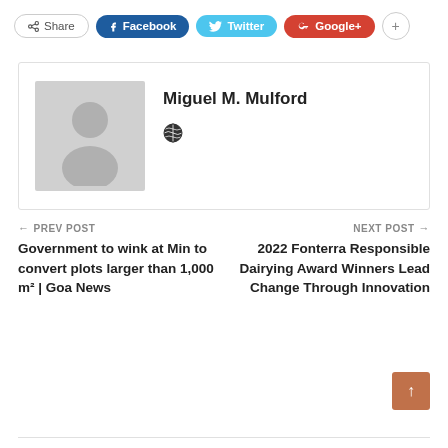[Figure (screenshot): Social sharing button bar with Share, Facebook, Twitter, Google+, and plus buttons]
[Figure (illustration): Author card with grey avatar placeholder silhouette, author name Miguel M. Mulford, and globe icon]
Miguel M. Mulford
← PREV POST
Government to wink at Min to convert plots larger than 1,000 m² | Goa News
NEXT POST →
2022 Fonterra Responsible Dairying Award Winners Lead Change Through Innovation